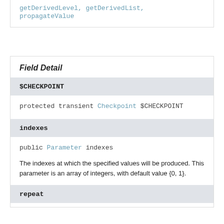getDerivedLevel, getDerivedList, propagateValue
Field Detail
$CHECKPOINT
protected transient Checkpoint $CHECKPOINT
indexes
public Parameter indexes
The indexes at which the specified values will be produced. This parameter is an array of integers, with default value {0, 1}.
repeat